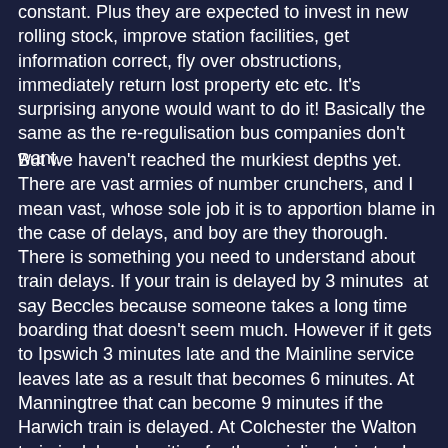constant. Plus they are expected to invest in new rolling stock, improve station facilities, get information correct, fly over obstructions, immediately return lost property etc etc. It's surprising anyone would want to do it! Basically the same as the re-regulisation bus companies don't want.
But we haven't reached the murkiest depths yet. There are vast armies of number crunchers, and I mean vast, whose sole job it is to apportion blame in the case of delays, and boy are they thorough. There is something you need to understand about train delays. If your train is delayed by 3 minutes  at say Beccles because someone takes a long time boarding that doesn't seem much. However if it gets to Ipswich 3 minutes late and the Mainline service leaves late as a result that becomes 6 minutes. At Manningtree that can become 9 minutes if the Harwich train is delayed. At Colchester the Walton train is delayed waiting for the mainline train to clear the points, and the stopping London service leaves late too. The snowball gets bigger and bigger. I have seen a 4 minute delay total over 1,400 minutes due to affected services also delayed, and operators are fined up to £120 a minute for delays.